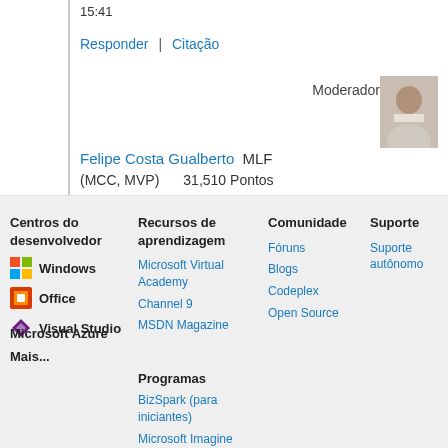15:41
Responder | Citação
Moderador
[Figure (photo): Profile photo of a person in a white shirt]
Felipe Costa Gualberto MLF (MCC, MVP)    31,510 Pontos
Centros do desenvolvedor
Recursos de aprendizagem
Comunidade
Suporte
Windows
Office
Visual Studio
Microsoft Virtual Academy
Channel 9
MSDN Magazine
Fóruns
Blogs
Codeplex
Open Source
Suporte autônomo
Microsoft Azure
Programas
BizSpark (para iniciantes)
Mais...
Microsoft Imagine (para